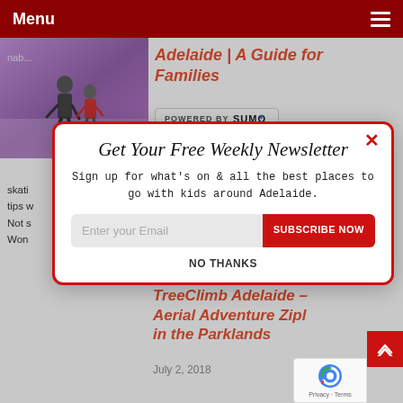Menu
Adelaide | A Guide for Families
[Figure (photo): Two people ice skating in a purple-lit rink]
POWERED BY SUMO
skati... tips w... Not s... Won...
[Figure (screenshot): Newsletter signup modal popup with title 'Get Your Free Weekly Newsletter', subtitle 'Sign up for what's on & all the best places to go with kids around Adelaide.', email input field, SUBSCRIBE NOW button, and NO THANKS link]
TreeClimb Adelaide – Aerial Adventure Zipl... in the Parklands
July 2, 2018